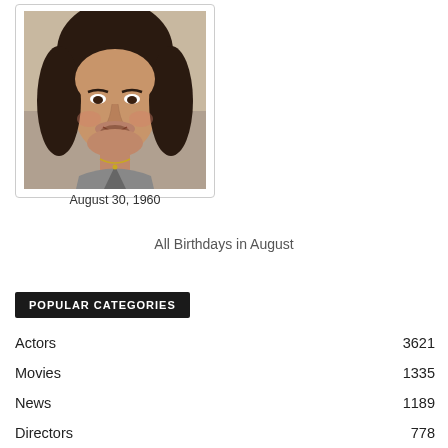[Figure (photo): Portrait photo of a man with medium-length dark hair, wearing a collared shirt with a necklace, looking at camera]
August 30, 1960
All Birthdays in August
POPULAR CATEGORIES
Actors 3621
Movies 1335
News 1189
Directors 778
Biographies 259